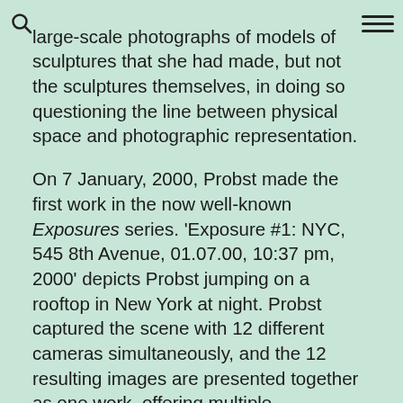[search icon] [hamburger menu icon]
large-scale photographs of models of sculptures that she had made, but not the sculptures themselves, in doing so questioning the line between physical space and photographic representation.

On 7 January, 2000, Probst made the first work in the now well-known Exposures series. 'Exposure #1: NYC, 545 8th Avenue, 01.07.00, 10:37 pm, 2000' depicts Probst jumping on a rooftop in New York at night. Probst captured the scene with 12 different cameras simultaneously, and the 12 resulting images are presented together as one work, offering multiple perspectives and entry points to viewers. The work is initially confusing: because the mind is so used to reading a photograph from one angle, it takes several moments to figure out what is being presented. Once deciphered, each image